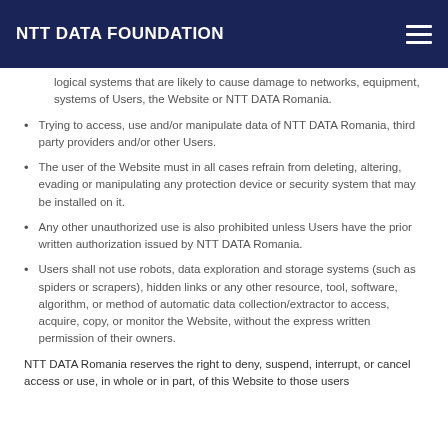NTT DATA FOUNDATION
logical systems that are likely to cause damage to networks, equipment, systems of Users, the Website or NTT DATA Romania.
Trying to access, use and/or manipulate data of NTT DATA Romania, third party providers and/or other Users.
The user of the Website must in all cases refrain from deleting, altering, evading or manipulating any protection device or security system that may be installed on it.
Any other unauthorized use is also prohibited unless Users have the prior written authorization issued by NTT DATA Romania.
Users shall not use robots, data exploration and storage systems (such as spiders or scrapers), hidden links or any other resource, tool, software, algorithm, or method of automatic data collection/extractor to access, acquire, copy, or monitor the Website, without the express written permission of their owners.
NTT DATA Romania reserves the right to deny, suspend, interrupt, or cancel access or use, in whole or in part, of this Website to those users